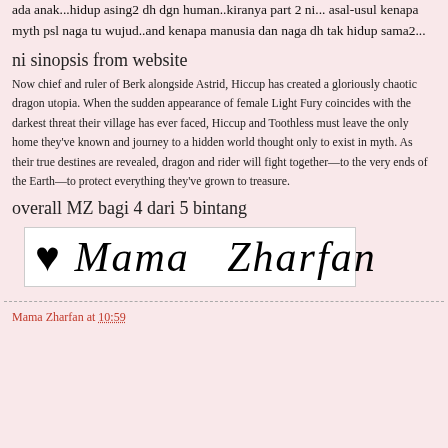ada anak...hidup asing2 dh dgn human..kiranya part 2 ni... asal-usul kenapa myth psl naga tu wujud..and kenapa manusia dan naga dh tak hidup sama2...
ni sinopsis from website
Now chief and ruler of Berk alongside Astrid, Hiccup has created a gloriously chaotic dragon utopia. When the sudden appearance of female Light Fury coincides with the darkest threat their village has ever faced, Hiccup and Toothless must leave the only home they've known and journey to a hidden world thought only to exist in myth. As their true destines are revealed, dragon and rider will fight together—to the very ends of the Earth—to protect everything they've grown to treasure.
overall MZ bagi 4 dari 5 bintang
[Figure (illustration): Handwritten cursive signature reading 'Mama Zharfan' with a small heart above the M, displayed in a white bordered box.]
Mama Zharfan at 10:59